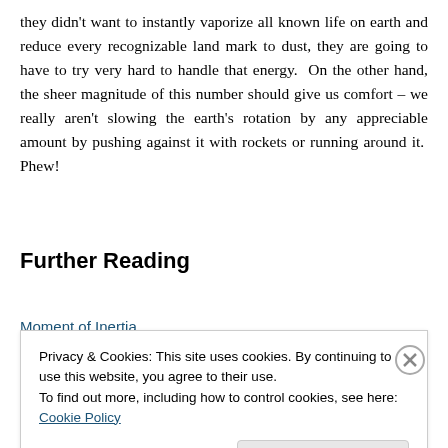they didn't want to instantly vaporize all known life on earth and reduce every recognizable land mark to dust, they are going to have to try very hard to handle that energy.  On the other hand, the sheer magnitude of this number should give us comfort – we really aren't slowing the earth's rotation by any appreciable amount by pushing against it with rockets or running around it.  Phew!
Further Reading
Moment of Inertia
Privacy & Cookies: This site uses cookies. By continuing to use this website, you agree to their use.
To find out more, including how to control cookies, see here: Cookie Policy
Close and accept